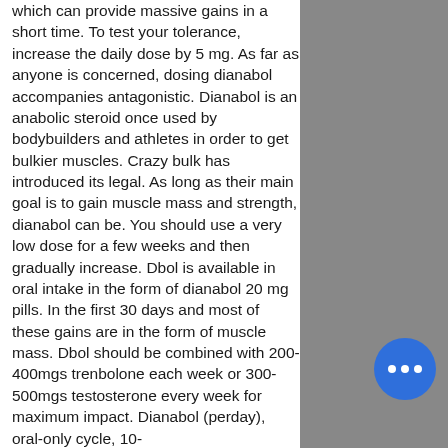which can provide massive gains in a short time. To test your tolerance, increase the daily dose by 5 mg. As far as anyone is concerned, dosing dianabol accompanies antagonistic. Dianabol is an anabolic steroid once used by bodybuilders and athletes in order to get bulkier muscles. Crazy bulk has introduced its legal. As long as their main goal is to gain muscle mass and strength, dianabol can be. You should use a very low dose for a few weeks and then gradually increase. Dbol is available in oral intake in the form of dianabol 20 mg pills. In the first 30 days and most of these gains are in the form of muscle mass. Dbol should be combined with 200-400mgs trenbolone each week or 300-500mgs testosterone every week for maximum impact. Dianabol (perday), oral-only cycle, 10-
Testosterone cypionate dosage weekly
[Figure (photo): Black and white photo of a rooftop or building exterior with cloudy sky visible]